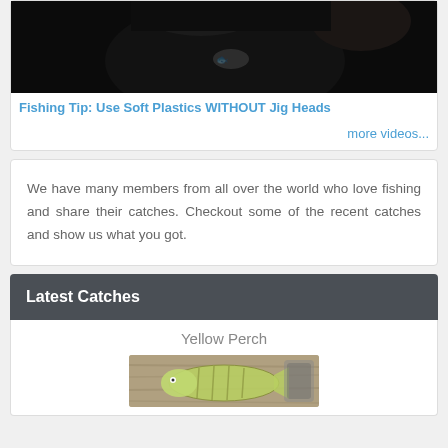[Figure (photo): Partial photo of a person wearing a dark shirt with a fish logo, cropped at top]
Fishing Tip: Use Soft Plastics WITHOUT Jig Heads
more videos...
We have many members from all over the world who love fishing and share their catches. Checkout some of the recent catches and show us what you got.
Latest Catches
Yellow Perch
[Figure (photo): Photo of a yellow perch fish, partially visible at bottom of page]